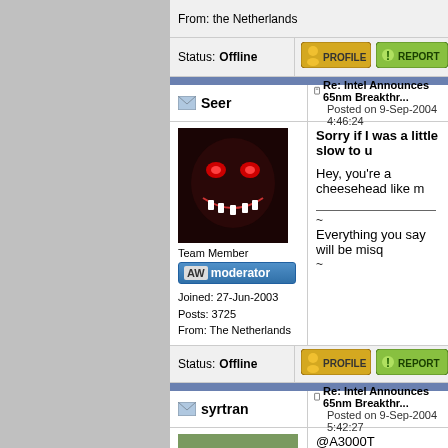From: the Netherlands
Status: Offline
[Figure (screenshot): Profile button]
[Figure (screenshot): Report button]
Seer
Re: Intel Announces 65nm Breakthr... Posted on 9-Sep-2004 4:46:24
[Figure (photo): Avatar: dark demonic face with red eyes and teeth]
Sorry if I was a little slow to u
Hey, you're a cheesehead like m
~ Everything you say will be misq ~
Team Member
AW moderator
Joined: 27-Jun-2003
Posts: 3725
From: The Netherlands
Status: Offline
[Figure (screenshot): Profile button]
[Figure (screenshot): Report button]
syrtran
Re: Intel Announces 65nm Breakthr... Posted on 9-Sep-2004 5:42:27
[Figure (photo): Avatar: red car (Ford Mustang) parked outside]
@A3000T
Quote:
I don't agree with you. What IBM invents... AmigaOne someday. What Intel invents... indirect way, as Intel stuff is not used an... some zorro boards with AMD
Cult Member